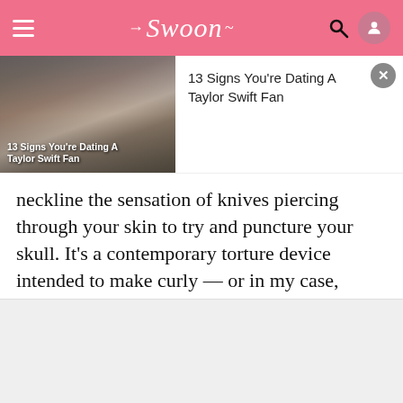Swoon
[Figure (screenshot): Notification card showing article '13 Signs You're Dating A Taylor Swift Fan' with a crowd photo thumbnail]
13 Signs You're Dating A Taylor Swift Fan
neckline the sensation of knives piercing through your skin to try and puncture your skull. It's a contemporary torture device intended to make curly — or in my case, crunchy — hair easier to straighten, and it's something I've been subjected to many times throughout my 19 years.